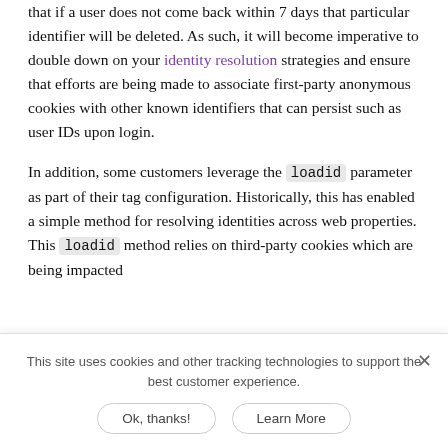that if a user does not come back within 7 days that particular identifier will be deleted. As such, it will become imperative to double down on your identity resolution strategies and ensure that efforts are being made to associate first-party anonymous cookies with other known identifiers that can persist such as user IDs upon login.
In addition, some customers leverage the loadid parameter as part of their tag configuration. Historically, this has enabled a simple method for resolving identities across web properties. This loadid method relies on third-party cookies which are being impacted
This site uses cookies and other tracking technologies to support the best customer experience.